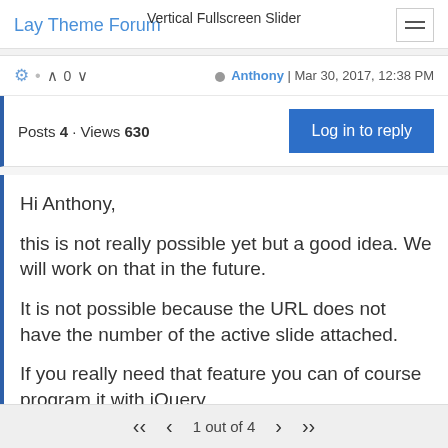Lay Theme Forum — Vertical Fullscreen Slider
⚙ · ∧ 0 ∨   ● Anthony | Mar 30, 2017, 12:38 PM
Posts 4 · Views 630   Log in to reply
Hi Anthony,

this is not really possible yet but a good idea. We will work on that in the future.

It is not possible because the URL does not have the number of the active slide attached.

If you really need that feature you can of course program it with jQuery.
1 out of 4